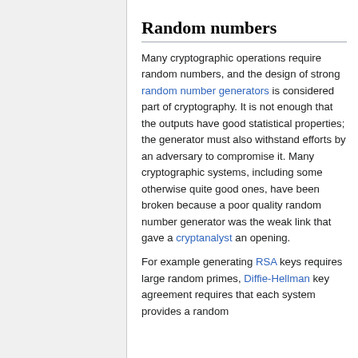Random numbers
Many cryptographic operations require random numbers, and the design of strong random number generators is considered part of cryptography. It is not enough that the outputs have good statistical properties; the generator must also withstand efforts by an adversary to compromise it. Many cryptographic systems, including some otherwise quite good ones, have been broken because a poor quality random number generator was the weak link that gave a cryptanalyst an opening.
For example generating RSA keys requires large random primes, Diffie-Hellman key agreement requires that each system provides a random